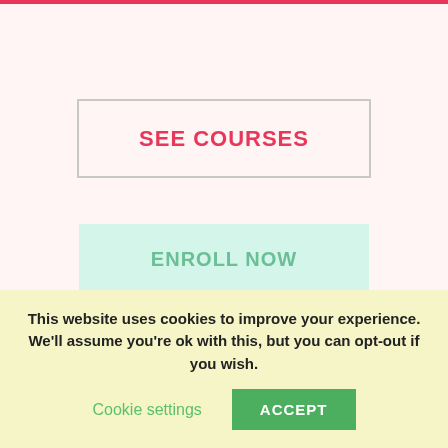[Figure (screenshot): Website screenshot showing a pink/light background with two buttons: 'See Courses' (outlined) and a teal/mint 'Enroll' button, on a pinkish background area.]
July 18, 2018      , 9:55 am      , Ask Harvey, Dating, Videos
This website uses cookies to improve your experience. We'll assume you're ok with this, but you can opt-out if you wish.
Cookie settings
ACCEPT